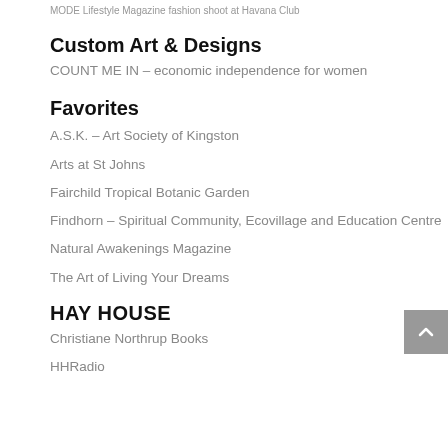MODE Lifestyle Magazine fashion shoot at Havana Club
Custom Art & Designs
COUNT ME IN – economic independence for women
Favorites
A.S.K. – Art Society of Kingston
Arts at St Johns
Fairchild Tropical Botanic Garden
Findhorn – Spiritual Community, Ecovillage and Education Centre
Natural Awakenings Magazine
The Art of Living Your Dreams
HAY HOUSE
Christiane Northrup Books
HHRadio